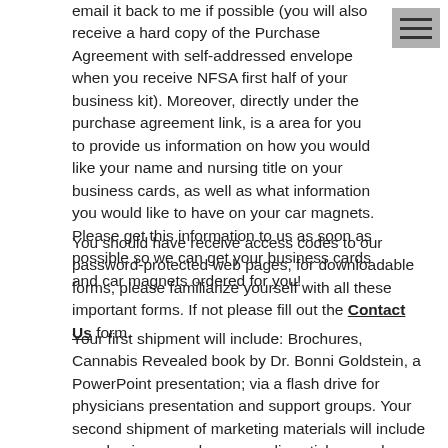email it back to me if possible (you will also receive a hard copy of the Purchase Agreement with self-addressed envelope when you receive NFSA first half of your business kit). Moreover, directly under the purchase agreement link, is a area for you to provide us information on how you would like your name and nursing title on your business cards, as well as what information you would like to have on your car magnets. Please get this information to us as soon as possible so we can get your business cards and car magnets ordered for you!
You should have receive access codes to our password-protected web pages, for downloadable forms, please familiarize yourself with all these important forms. If not please fill out the Contact Us form.
Your first shipment will include: Brochures, Cannabis Revealed book by Dr. Bonni Goldstein, a PowerPoint presentation; via a flash drive for physicians presentation and support groups. Your second shipment of marketing materials will include your business cards, personalize stickers and personalize car magnets.